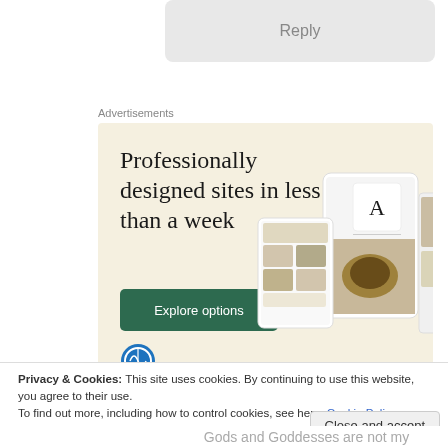Reply
Advertisements
[Figure (screenshot): Advertisement for WordPress website builder: 'Professionally designed sites in less than a week' with green 'Explore options' button and mockup screenshots of websites. WordPress logo at bottom left.]
Privacy & Cookies: This site uses cookies. By continuing to use this website, you agree to their use.
To find out more, including how to control cookies, see here: Cookie Policy
Close and accept
Gods and Goddesses are not my